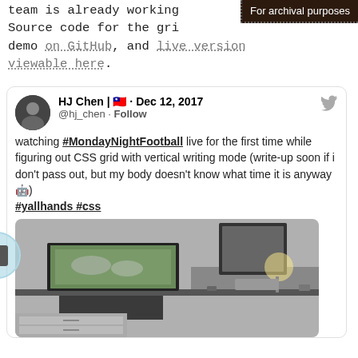For archival purposes
team is already working Source code for the grid demo on GitHub, and live version viewable here.
[Figure (screenshot): Embedded tweet from HJ Chen (@hj_chen) dated Dec 12, 2017, about watching #MondayNightFootball live for the first time while figuring out CSS grid with vertical writing mode. Includes hashtags #yallhands #css and a photo of a desk with a TV showing a football game and a lamp-lit work area.]